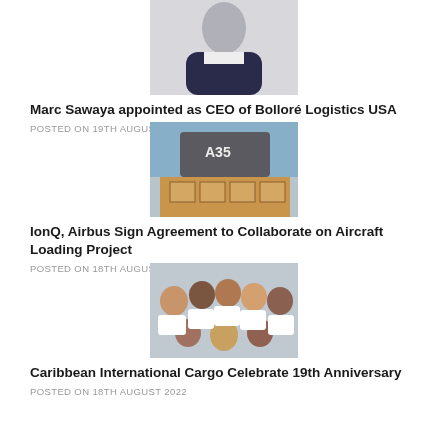[Figure (photo): Portrait photo of Marc Sawaya, a man in a dark suit, cropped at chest level, white background]
Marc Sawaya appointed as CEO of Bolloré Logistics USA
POSTED ON 19TH AUGUST 2022
[Figure (photo): Cargo boxes being loaded onto an Airbus A350 aircraft via a loading ramp]
IonQ, Airbus Sign Agreement to Collaborate on Aircraft Loading Project
POSTED ON 18TH AUGUST 2022
[Figure (photo): Group selfie of smiling people in white shirts celebrating, some making gestures]
Caribbean International Cargo Celebrate 19th Anniversary
POSTED ON 18TH AUGUST 2022